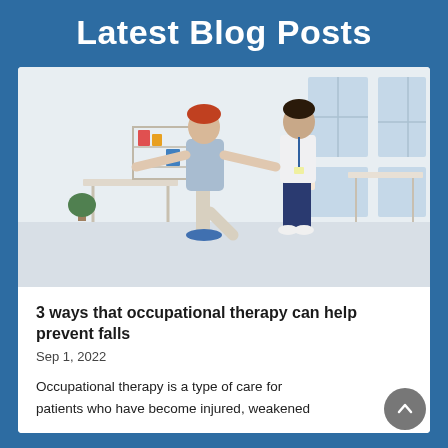Latest Blog Posts
[Figure (photo): A physical therapist helping an older woman with balance exercises in a bright therapy room. The woman stands on one leg with arms outstretched while the therapist supports her hand.]
3 ways that occupational therapy can help prevent falls
Sep 1, 2022
Occupational therapy is a type of care for patients who have become injured, weakened